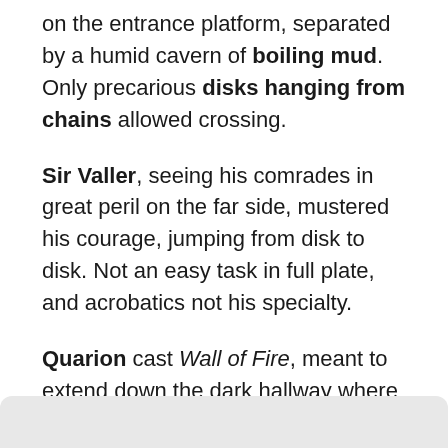on the entrance platform, separated by a humid cavern of boiling mud. Only precarious disks hanging from chains allowed crossing.
Sir Valler, seeing his comrades in great peril on the far side, mustered his courage, jumping from disk to disk. Not an easy task in full plate, and acrobatics not his specialty.
Quarion cast Wall of Fire, meant to extend down the dark hallway where Ctenmiir presumably was approaching. It failed. Another booming laugh. “You think you can control the conditions in my own chamber, mage?”